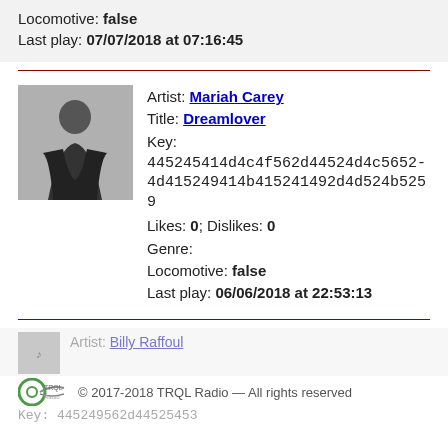Locomotive: false
Last play: 07/07/2018 at 07:16:45
[Figure (photo): Artist thumbnail photo of Mariah Carey]
Artist: Mariah Carey
Title: Dreamlover
Key:
445245414d4c4f562d44524d4c5652-4d415249414b415241492d4d524b5259
Likes: 0; Dislikes: 0
Genre:
Locomotive: false
Last play: 06/06/2018 at 22:53:13
Artist: Billy Raffoul
© 2017-2018 TRQL Radio — All rights reserved
Key: 445249562d44525453